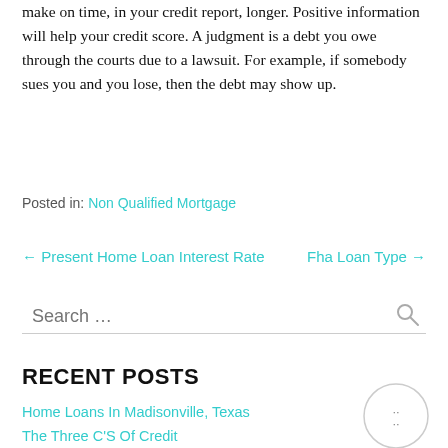make on time, in your credit report, longer. Positive information will help your credit score. A judgment is a debt you owe through the courts due to a lawsuit. For example, if somebody sues you and you lose, then the debt may show up.
Posted in: Non Qualified Mortgage
← Present Home Loan Interest Rate   Fha Loan Type →
Search …
RECENT POSTS
Home Loans In Madisonville, Texas
The Three C'S Of Credit